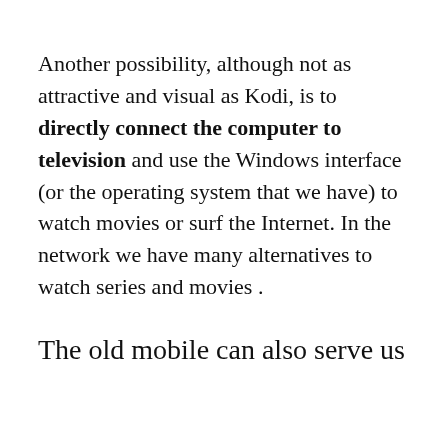Another possibility, although not as attractive and visual as Kodi, is to directly connect the computer to television and use the Windows interface (or the operating system that we have) to watch movies or surf the Internet. In the network we have many alternatives to watch series and movies .
The old mobile can also serve us